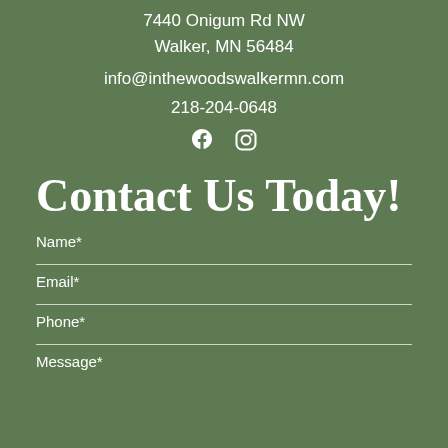7440 Onigum Rd NW
Walker, MN 56484
info@inthewoodswalkermn.com
218-204-0648
[Figure (other): Facebook and Instagram social media icons]
Contact Us Today!
Name*
Email*
Phone*
Message*